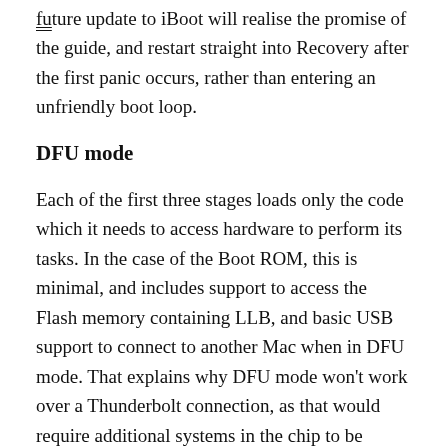future update to iBoot will realise the promise of the guide, and restart straight into Recovery after the first panic occurs, rather than entering an unfriendly boot loop.
DFU mode
Each of the first three stages loads only the code which it needs to access hardware to perform its tasks. In the case of the Boot ROM, this is minimal, and includes support to access the Flash memory containing LLB, and basic USB support to connect to another Mac when in DFU mode. That explains why DFU mode won't work over a Thunderbolt connection, as that would require additional systems in the chip to be active to provide the hardware support necessary. Similarly, the connecting Mac needs to be able to send a substitute for LLB to enable the M1 Mac to proceed to install a fresh LLB and Boot...